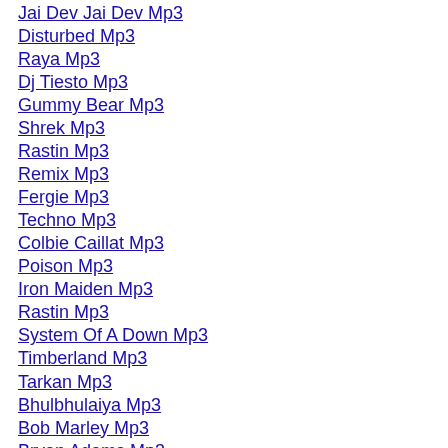Jai Dev Jai Dev Mp3
Disturbed Mp3
Raya Mp3
Dj Tiesto Mp3
Gummy Bear Mp3
Shrek Mp3
Rastin Mp3
Remix Mp3
Fergie Mp3
Techno Mp3
Colbie Caillat Mp3
Poison Mp3
Iron Maiden Mp3
Rastin Mp3
System Of A Down Mp3
Timberland Mp3
Tarkan Mp3
Bhulbhulaiya Mp3
Bob Marley Mp3
Bryan Adams Mp3
Quran Mp3
Papaya Mp3
Utada Hikaru Mp3
Kekasih Gelapku Mp3
Colbie Caillat Mp3